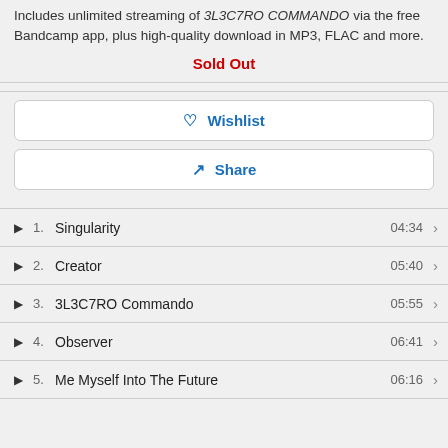Includes unlimited streaming of 3L3C7RO COMMANDO via the free Bandcamp app, plus high-quality download in MP3, FLAC and more.
Sold Out
Wishlist
Share
1. Singularity  04:34
2. Creator  05:40
3. 3L3C7RO Commando  05:55
4. Observer  06:41
5. Me Myself Into The Future  06:16